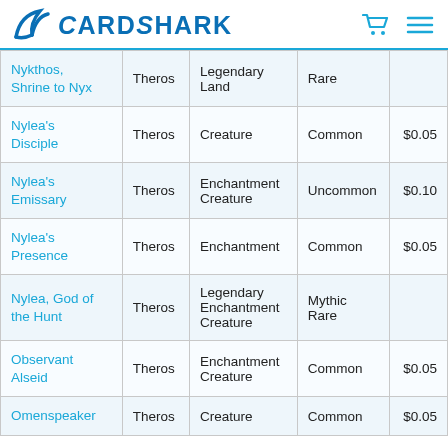CardShark
| Card Name | Set | Type | Rarity | Price |
| --- | --- | --- | --- | --- |
| Nykthos, Shrine to Nyx | Theros | Legendary Land | Rare |  |
| Nylea's Disciple | Theros | Creature | Common | $0.05 |
| Nylea's Emissary | Theros | Enchantment Creature | Uncommon | $0.10 |
| Nylea's Presence | Theros | Enchantment | Common | $0.05 |
| Nylea, God of the Hunt | Theros | Legendary Enchantment Creature | Mythic Rare |  |
| Observant Alseid | Theros | Enchantment Creature | Common | $0.05 |
| Omenspeaker | Theros | Creature | Common | $0.05 |